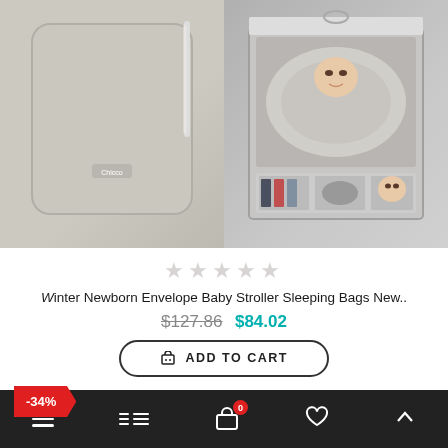[Figure (photo): Left: Grey baby stroller sleeping bag/envelope laid flat. Right: Baby in grey fluffy sleeping bag shown in packaging with color variant thumbnails.]
★★★★★ (star rating, empty/light)
Winter Newborn Envelope Baby Stroller Sleeping Bags New..
$127.86  $84.02
ADD TO CART
-34%
[Figure (photo): Partial view of a grey fluffy baby hat/product at the bottom of the page.]
Navigation bar with menu, filter, cart (0), wishlist, and scroll-to-top icons